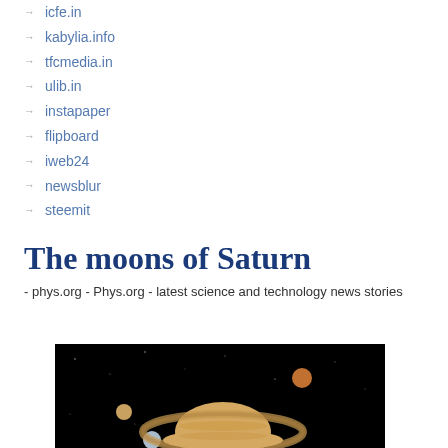icfe.in
kabylia.info
tfcmedia.in
ulib.in
instapaper
flipboard
iweb24
newsblur
steemit
The moons of Saturn
- phys.org - Phys.org - latest science and technology news stories
[Figure (photo): Space image showing Saturn with its rings and moons against a black background]